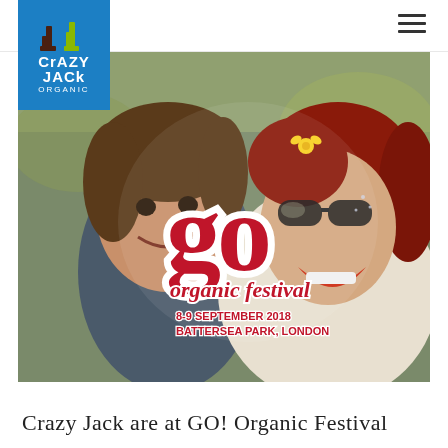[Figure (logo): Crazy Jack Organic logo — blue rectangle background with two wellies/boots illustration and white text reading CrAZY JACk ORGANIC]
[Figure (photo): Festival photo of two happy people (a child and a young woman with red hair wearing sunglasses and a flower in her hair) at a festival crowd. Over the photo is the GO Organic Festival logo — red/crimson bubbly lettering 'go' with white outline, 'organic festival' text, and event details: 8-9 September 2018, Battersea Park, London]
Crazy Jack are at GO! Organic Festival